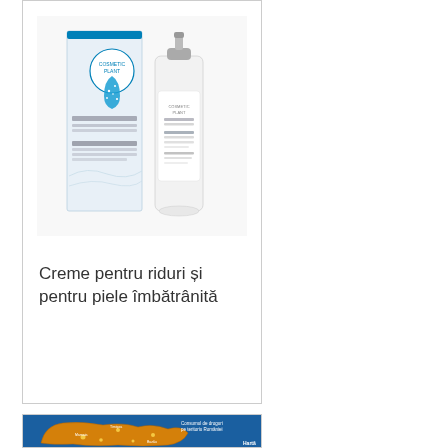[Figure (photo): Cosmetic Plant skincare product — a blue box with water drop design and a white pump bottle serum, anti-wrinkle/anti-aging product]
Creme pentru riduri și pentru piele îmbătrânită
[Figure (map): Map of Romania showing drug consumption across Romanian territory, with orange/brown colored regions and label text in Romanian]